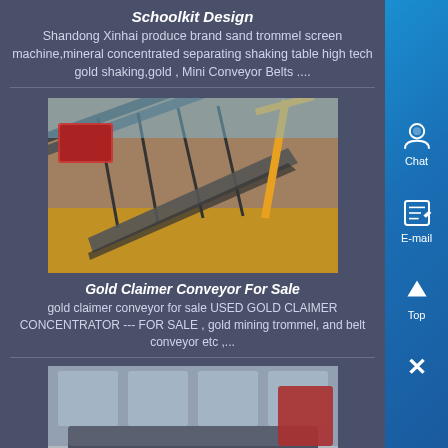Schoolkit Design
Shandong Xinhai produce brand sand trommel screen machine,mineral concentrated separating shaking table high tech gold shaking,gold , Mini Conveyor Belts ....
[Figure (photo): Industrial conveyor belt structure at a mining site, with a crane visible and sandy/orange ground below.]
Gold Claimer Conveyor For Sale
gold claimer conveyor for sale USED GOLD CLAIMER CONCENTRATOR --- FOR SALE , gold mining trommel, and belt conveyor etc ,...
[Figure (photo): Industrial feed conveyor machine on a concrete floor inside a workshop, with yellow rollers visible.]
12 Feed Conveyor